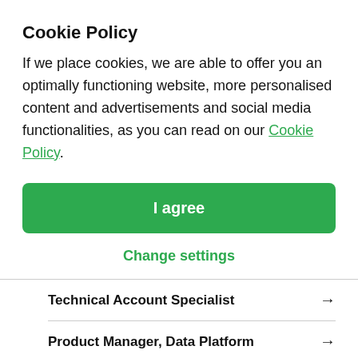Cookie Policy
If we place cookies, we are able to offer you an optimally functioning website, more personalised content and advertisements and social media functionalities, as you can read on our Cookie Policy.
I agree
Change settings
Technical Account Specialist →
Product Manager, Data Platform →